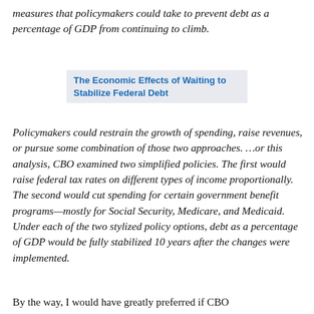measures that policymakers could take to prevent debt as a percentage of GDP from continuing to climb.
The Economic Effects of Waiting to Stabilize Federal Debt
Policymakers could restrain the growth of spending, raise revenues, or pursue some combination of those two approaches. …or this analysis, CBO examined two simplified policies. The first would raise federal tax rates on different types of income proportionally. The second would cut spending for certain government benefit programs—mostly for Social Security, Medicare, and Medicaid. Under each of the two stylized policy options, debt as a percentage of GDP would be fully stabilized 10 years after the changes were implemented.
By the way, I would have greatly preferred if CBO